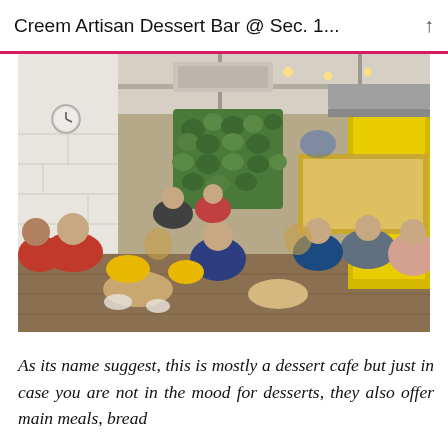Creem Artisan Dessert Bar @ Sec. 1...
[Figure (photo): Interior of Creem Artisan Dessert Bar showing patrons seated at rattan chairs and tables with yellow cushions, white brick walls, green plant wall in the background, and warm yellow lighting on the right side.]
As its name suggest, this is mostly a dessert cafe but just in case you are not in the mood for desserts, they also offer main meals, bread